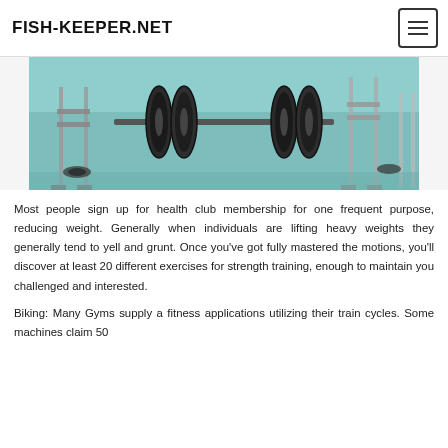FISH-KEEPER.NET
[Figure (photo): Gym interior showing weight training equipment including barbells on racks and weight plates on a teal/green floor]
Most people sign up for health club membership for one frequent purpose, reducing weight. Generally when individuals are lifting heavy weights they generally tend to yell and grunt. Once you've got fully mastered the motions, you'll discover at least 20 different exercises for strength training, enough to maintain you challenged and interested.
Biking: Many Gyms supply a fitness applications utilizing their train cycles. Some machines claim 50